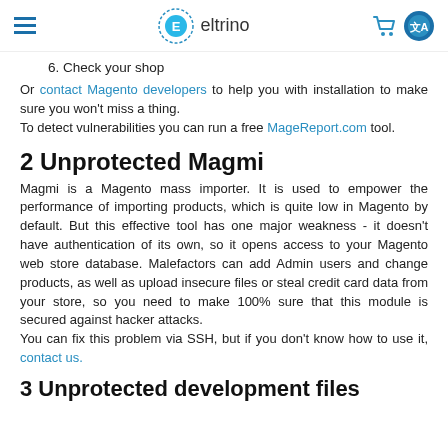eltrino
6. Check your shop
Or contact Magento developers to help you with installation to make sure you won't miss a thing.
To detect vulnerabilities you can run a free MageReport.com tool.
2 Unprotected Magmi
Magmi is a Magento mass importer. It is used to empower the performance of importing products, which is quite low in Magento by default. But this effective tool has one major weakness - it doesn't have authentication of its own, so it opens access to your Magento web store database. Malefactors can add Admin users and change products, as well as upload insecure files or steal credit card data from your store, so you need to make 100% sure that this module is secured against hacker attacks.
You can fix this problem via SSH, but if you don't know how to use it, contact us.
3 Unprotected development files